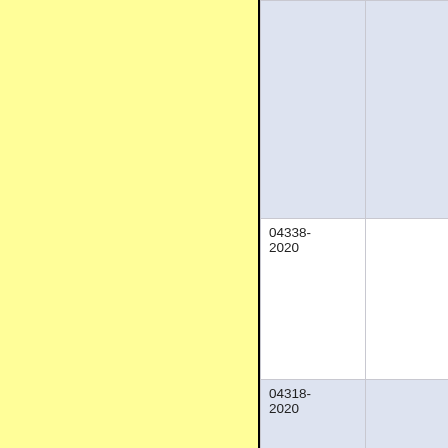| ID |  |
| --- | --- |
|  |  |
| 04338-2020 |  |
| 04318-2020 |  |
| 04313-2020 |  |